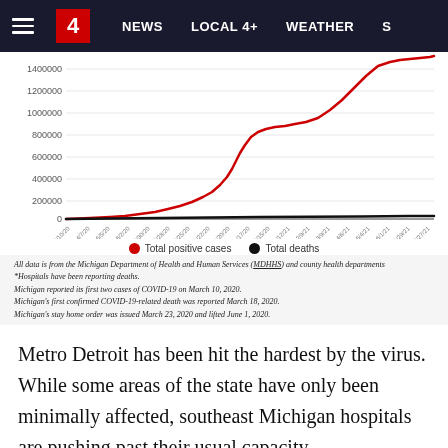≡  4   NEWS   LOCAL 4+   WEATHER   S
[Figure (continuous-plot): Line chart showing Michigan COVID-19 cumulative totals over time. Red line shows 'Total positive cases' rising steeply from near 0 to ~1,400,000. Black line shows 'Total deaths' remaining near 0 throughout. Y-axis: 0 to 1400000. X-axis: dates from early 2020 through late 2021.]
Total positive cases   Total deaths
All data is from the Michigan Department of Health and Human Services (MDHHS) and county health departments
*Hospitals have been reporting deaths.
Michigan reported its first two cases of COVID-19 on March 10, 2020.
Michigan's first confirmed COVID-19-related death was reported March 18, 2020.
Michigan's stay home order was issued March 23, 2020 and lifted June 1, 2020.
Metro Detroit has been hit the hardest by the virus. While some areas of the state have only been minimally affected, southeast Michigan hospitals are pushing past their usual capacity.